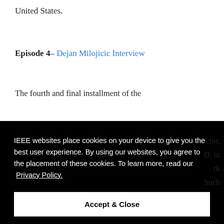United States.
Episode 4– Dejan Milojicic Interview
The fourth and final installment of the
IEEE websites place cookies on your device to give you the best user experience. By using our websites, you agree to the placement of these cookies. To learn more, read our Privacy Policy.
Accept & Close